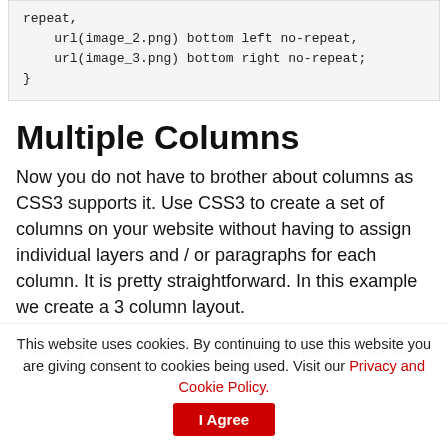repeat,
    url(image_2.png) bottom left no-repeat,
    url(image_3.png) bottom right no-repeat;
}
Multiple Columns
Now you do not have to brother about columns as CSS3 supports it. Use CSS3 to create a set of columns on your website without having to assign individual layers and / or paragraphs for each column. It is pretty straightforward. In this example we create a 3 column layout.
One early risen morning,  |  it was steamy with a  |  piece of a tale but I
This website uses cookies. By continuing to use this website you are giving consent to cookies being used. Visit our Privacy and Cookie Policy.